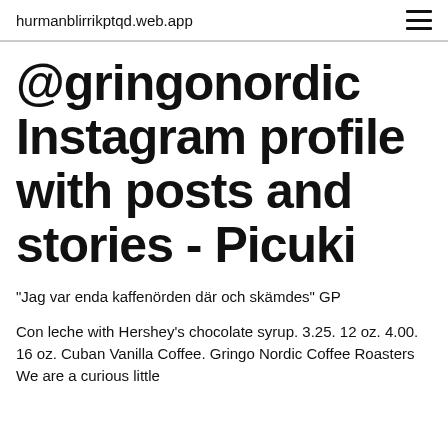hurmanblirrikptqd.web.app
@gringonordic Instagram profile with posts and stories - Picuki
"Jag var enda kaffenörden där och skämdes" GP
Con leche with Hershey's chocolate syrup. 3.25. 12 oz. 4.00. 16 oz. Cuban Vanilla Coffee. Gringo Nordic Coffee Roasters We are a curious little